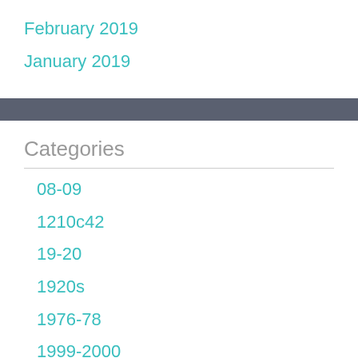February 2019
January 2019
Categories
08-09
1210c42
19-20
1920s
1976-78
1999-2000
2001-02
2002-03